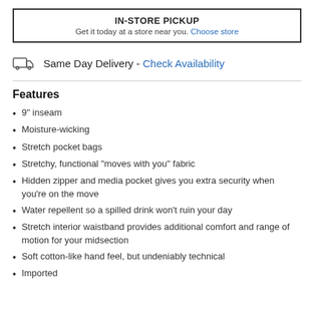IN-STORE PICKUP
Get it today at a store near you. Choose store
Same Day Delivery - Check Availability
Features
9" inseam
Moisture-wicking
Stretch pocket bags
Stretchy, functional "moves with you" fabric
Hidden zipper and media pocket gives you extra security when you're on the move
Water repellent so a spilled drink won't ruin your day
Stretch interior waistband provides additional comfort and range of motion for your midsection
Soft cotton-like hand feel, but undeniably technical
Imported